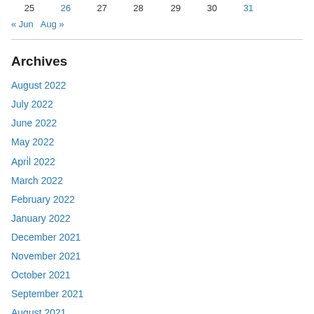| 25 | 26 | 27 | 28 | 29 | 30 | 31 |
| --- | --- | --- | --- | --- | --- | --- |
« Jun   Aug »
Archives
August 2022
July 2022
June 2022
May 2022
April 2022
March 2022
February 2022
January 2022
December 2021
November 2021
October 2021
September 2021
August 2021
July 2021